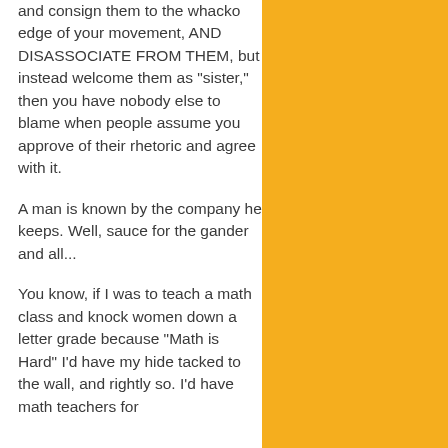and consign them to the whacko edge of your movement, AND DISASSOCIATE FROM THEM, but instead welcome them as "sister," then you have nobody else to blame when people assume you approve of their rhetoric and agree with it.
A man is known by the company he keeps. Well, sauce for the gander and all...
You know, if I was to teach a math class and knock women down a letter grade because "Math is Hard" I'd have my hide tacked to the wall, and rightly so. I'd have math teachers for...